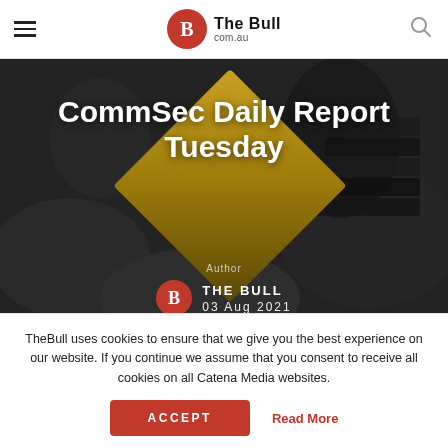The Bull com.au
[Figure (photo): Dark background with stacked books/stones, featuring a gold diamond shape overlay. Article hero image for 'CommSec Daily Report Tuesday' by The Bull, dated 03 Aug 2021.]
CommSec Daily Report Tuesday
Author THE BULL 03 Aug 2021
TheBull uses cookies to ensure that we give you the best experience on our website. If you continue we assume that you consent to receive all cookies on all Catena Media websites.
ACCEPT  Read More